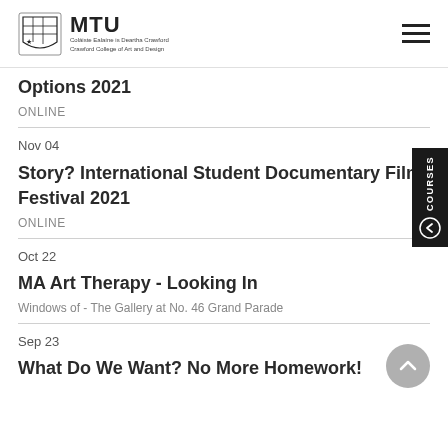MTU Crawford College of Art and Design
Options 2021
ONLINE
Nov 04
Story? International Student Documentary Film Festival 2021
ONLINE
Oct 22
MA Art Therapy - Looking In
Windows of - The Gallery at No. 46 Grand Parade
Sep 23
What Do We Want? No More Homework!